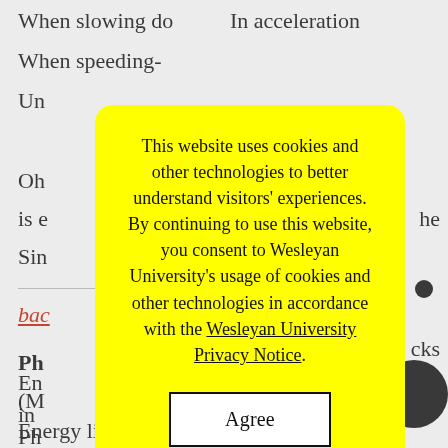When slowing do[wn]
In acceleration
When speeding-[up]
Un[iform...]
Oh[...]
is e[...] he
Sin[...]
bac[k...]
Ph[ysics...]
(M[omentum...])
Ph[ysics...]
Sp[eed...]
cks
En[ergy...]
in [...]
Ein.......stein
Energy like a sta[r...]
[Figure (screenshot): Cookie consent modal with yellow background. Text reads: 'This website uses cookies and other technologies to better understand visitors' experiences. By continuing to use this website, you consent to Wesleyan University's usage of cookies and other technologies in accordance with the Wesleyan University Privacy Notice.' with an Agree button below.]